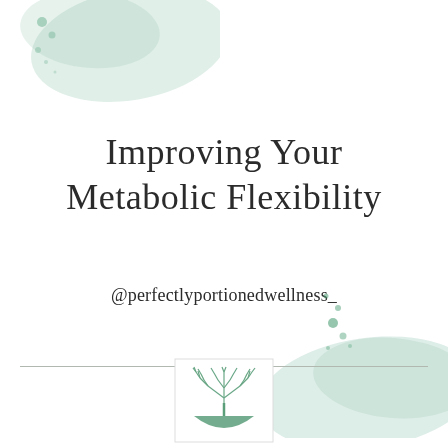[Figure (illustration): Top-left watercolor green blob decorative element with small dots]
Improving Your Metabolic Flexibility
@perfectlyportionedwellness_
[Figure (illustration): Bottom-right watercolor green blob decorative element with small dots]
[Figure (logo): Tree/plant logo in a bowl shape, green color, inside a white bordered square]